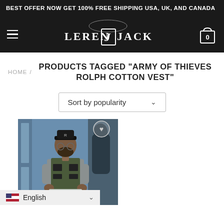BEST OFFER NOW GET 100% FREE SHIPPING USA, UK, AND CANADA
[Figure (logo): LerenJJack brand logo with hamburger menu and shopping cart icon on dark background]
HOME / PRODUCTS TAGGED "ARMY OF THIEVES ROLPH COTTON VEST"
Sort by popularity
[Figure (photo): Man wearing a dark olive/green sleeveless vest over a grey shirt, with a black cap and glasses, standing in front of a blue wall]
English